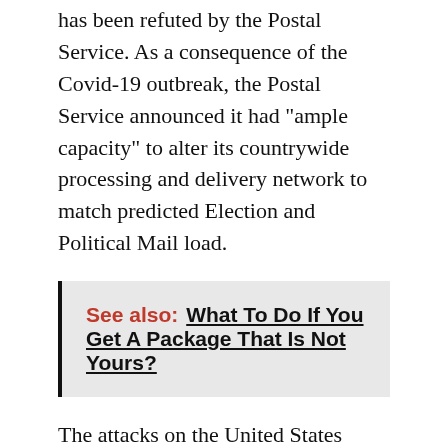has been refuted by the Postal Service. As a consequence of the Covid-19 outbreak, the Postal Service announced it had "ample capacity" to alter its countrywide processing and delivery network to match predicted Election and Political Mail load.
See also: What To Do If You Get A Package That Is Not Yours?
The attacks on the United States Postal Service, according to David Becker, executive director of the independent Center for Election Innovation and Research, impacted voters, including many of Trump's own supporters who voted by mail."He's publicly urging his constituents to do so, but he's